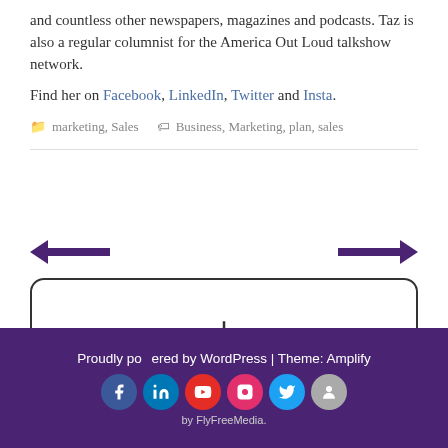and countless other newspapers, magazines and podcasts. Taz is also a regular columnist for the America Out Loud talkshow network.
Find her on Facebook, LinkedIn, Twitter and Insta.
marketing, Sales   Business, Marketing, plan, sales
[Figure (other): Navigation arrows pointing left and right, and a plus button in a rounded rectangle box]
Proudly powered by WordPress | Theme: Amplify by FlyFreeMedia.